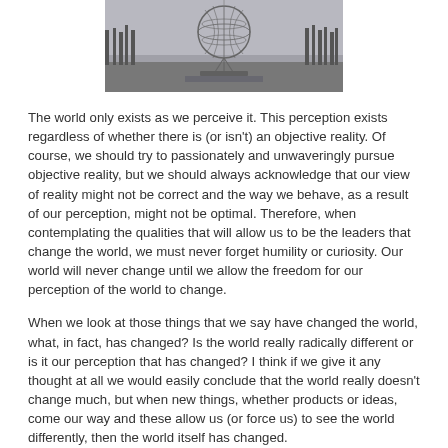[Figure (photo): Grayscale photograph of the Unisphere sculpture (globe structure) at Flushing Meadows, with bare trees in the background and overcast sky.]
The world only exists as we perceive it. This perception exists regardless of whether there is (or isn't) an objective reality. Of course, we should try to passionately and unwaveringly pursue objective reality, but we should always acknowledge that our view of reality might not be correct and the way we behave, as a result of our perception, might not be optimal. Therefore, when contemplating the qualities that will allow us to be the leaders that change the world, we must never forget humility or curiosity. Our world will never change until we allow the freedom for our perception of the world to change.
When we look at those things that we say have changed the world, what, in fact, has changed? Is the world really radically different or is it our perception that has changed? I think if we give it any thought at all we would easily conclude that the world really doesn't change much, but when new things, whether products or ideas, come our way and these allow us (or force us) to see the world differently, then the world itself has changed.